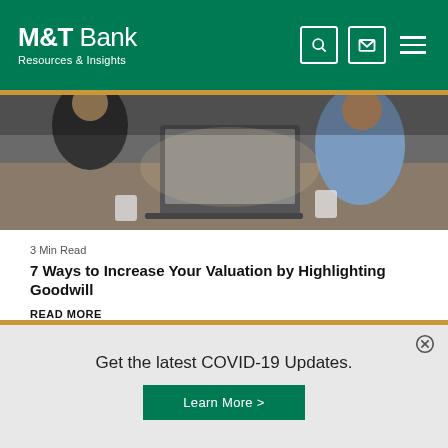M&T Bank Resources & Insights
[Figure (photo): Office meeting scene: people sitting around a table with laptops and coffee cups, viewed from above/side angle]
3 Min Read
7 Ways to Increase Your Valuation by Highlighting Goodwill
READ MORE
Get the latest COVID-19 Updates.
Learn More >